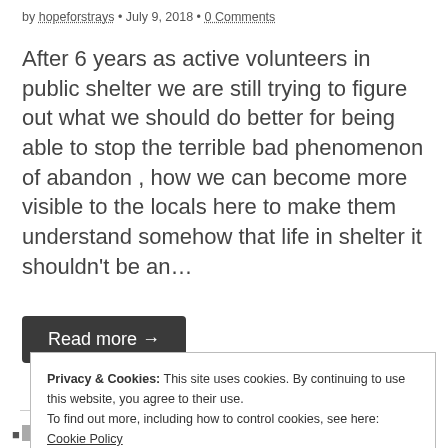by hopeforstrays • July 9, 2018 • 0 Comments
After 6 years as active volunteers in public shelter we are still trying to figure out what we should do better for being able to stop the terrible bad phenomenon of abandon , how we can become more visible to the locals here to make them understand somehow that life in shelter it shouldn't be an…
Read more →
HAPPY TAILS
Privacy & Cookies: This site uses cookies. By continuing to use this website, you agree to their use.
To find out more, including how to control cookies, see here: Cookie Policy
Close and accept